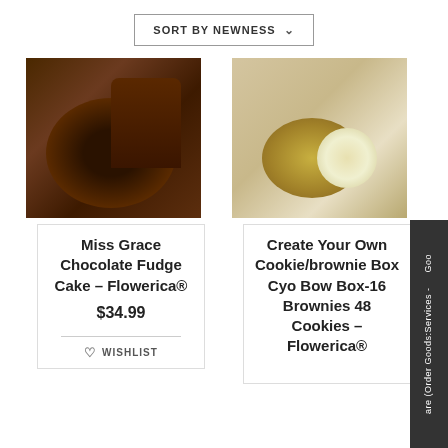SORT BY NEWNESS
[Figure (photo): Chocolate bundt cake with dark fudge glaze on a white plate]
[Figure (photo): Assorted cookies and brownies on a teal plate with coffee cups in background]
Miss Grace Chocolate Fudge Cake – Flowerica®
$34.99
WISHLIST
Create Your Own Cookie/brownie Box Cyo Bow Box-16 Brownies 48 Cookies – Flowerica®